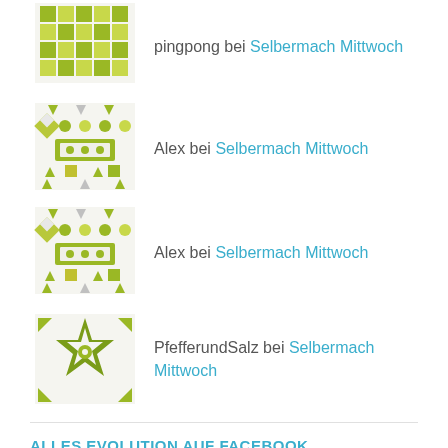pingpong bei Selbermach Mittwoch
Alex bei Selbermach Mittwoch
Alex bei Selbermach Mittwoch
PfefferundSalz bei Selbermach Mittwoch
ALLES EVOLUTION AUF FACEBOOK
BLOGROLL